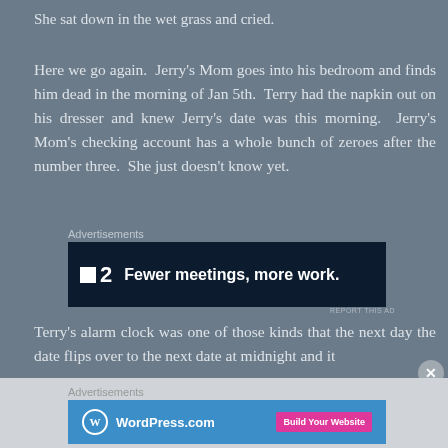She sat down in the wet grass and cried.
Here we go again. Jerry's Mom goes into his bedroom and finds him dead in the morning of Jan 5th. Terry had the napkin out on his dresser and knew Jerry's date was this morning. Jerry's Mom's checking account has a whole bunch of zeroes after the number three. She just doesn't know yet.
[Figure (other): Advertisement banner: dark navy background with P2 logo (two white squares and number 2) and text 'Fewer meetings, more work.']
Terry's alarm clock was one of those kinds that the next day the date flips over to the next date at midnight and it
[Figure (other): Advertisement banner: blue background with WordPress.com logo and 'Build Your Website' pink button]